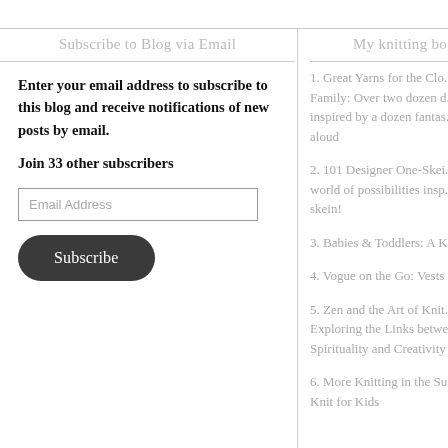Subscribe to Blog via Email
My knitting bo
Enter your email address to subscribe to this blog and receive notifications of new posts by email.
Join 33 other subscribers
1. Great Yarns for the Clo... Family: Over two dozen d... inspired by a dozen fantas... read-aloud
2. 101 Designer One-Skei... world of possibilities insp... one skein!
3. Babies & Toddlers: A K...
4. Vogue on the Go: Vests
5. Zen and the Art of Knit... Exploring the Links betwe... Spirituality and Creativity
6. More Knitting in the Su... to Knit for Kids